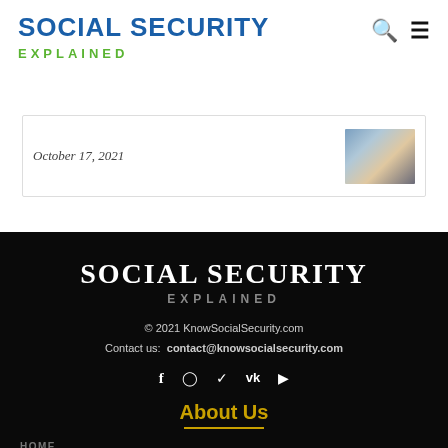SOCIAL SECURITY EXPLAINED
October 17, 2021
[Figure (photo): Small thumbnail photo of hands]
SOCIAL SECURITY EXPLAINED
© 2021 KnowSocialSecurity.com
Contact us: contact@knowsocialsecurity.com
Social media icons: f, instagram, twitter, vk, youtube
About Us
HOME
PRIVACY POLICY